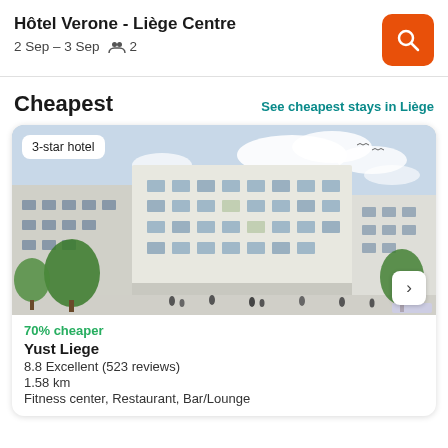Hôtel Verone - Liège Centre
2 Sep – 3 Sep    👥 2
Cheapest
See cheapest stays in Liège
[Figure (photo): Exterior rendering of Yust Liege hotel — a modern white multi-storey building with trees and pedestrians in front. A badge reads '3-star hotel'. A next arrow button is visible at bottom right.]
70% cheaper
Yust Liege
8.8 Excellent (523 reviews)
1.58 km
Fitness center, Restaurant, Bar/Lounge